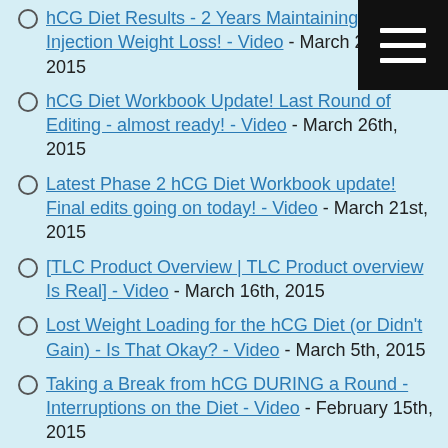hCG Diet Results - 2 Years Maintaining hCG Injection Weight Loss! - Video - March 23rd, 2015
hCG Diet Workbook Update! Last Round of Editing - almost ready! - Video - March 26th, 2015
Latest Phase 2 hCG Diet Workbook update! Final edits going on today! - Video - March 21st, 2015
[TLC Product Overview | TLC Product overview Is Real] - Video - March 16th, 2015
Lost Weight Loading for the hCG Diet (or Didn't Gain) - Is That Okay? - Video - March 5th, 2015
Taking a Break from hCG DURING a Round - Interruptions on the Diet - Video - February 15th, 2015